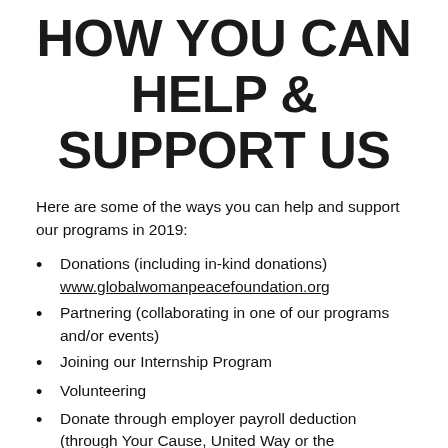HOW YOU CAN HELP & SUPPORT US
Here are some of the ways you can help and support our programs in 2019:
Donations (including in-kind donations) www.globalwomanpeacefoundation.org
Partnering (collaborating in one of our programs and/or events)
Joining our Internship Program
Volunteering
Donate through employer payroll deduction (through Your Cause, United Way or the government employee